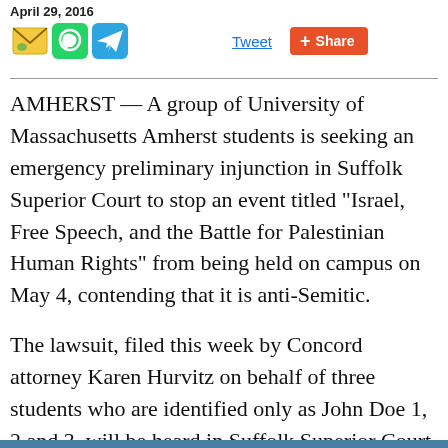April 29, 2016
[Figure (other): Social sharing icons row: email icon, WhatsApp icon, Telegram icon, Tweet link, Share button]
AMHERST — A group of University of Massachusetts Amherst students is seeking an emergency preliminary injunction in Suffolk Superior Court to stop an event titled "Israel, Free Speech, and the Battle for Palestinian Human Rights" from being held on campus on May 4, contending that it is anti-Semitic.
The lawsuit, filed this week by Concord attorney Karen Hurvitz on behalf of three students who are identified only as John Doe 1, 2 and 3, will be heard in Suffolk Superior Court at 2 p.m. Monday.